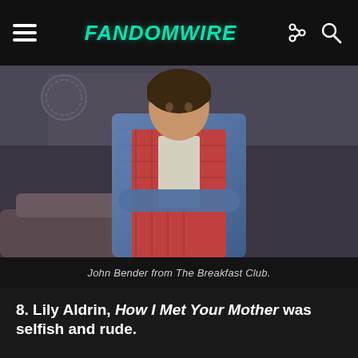FandomWire
[Figure (photo): Person wearing a denim jacket with arms crossed, sitting in what appears to be a library or classroom setting. Still from The Breakfast Club.]
John Bender from The Breakfast Club.
8. Lily Aldrin, How I Met Your Mother was selfish and rude.
[Figure (photo): Woman with red/auburn hair holding a mallet/hammer, smiling, wearing a plaid shirt. Scene from How I Met Your Mother.]